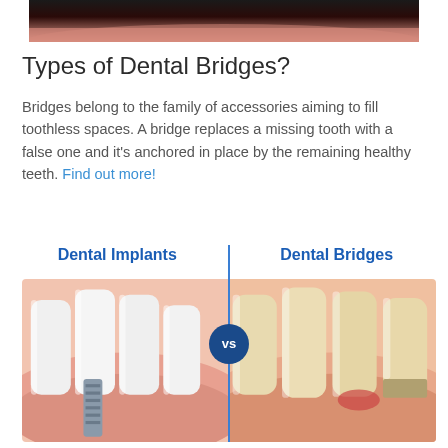[Figure (photo): Close-up photo of gum/teeth tissue, partial view at top of page]
Types of Dental Bridges?
Bridges belong to the family of accessories aiming to fill toothless spaces. A bridge replaces a missing tooth with a false one and it's anchored in place by the remaining healthy teeth. Find out more!
[Figure (infographic): Comparison infographic: Dental Implants vs Dental Bridges. Left side shows a white dental implant with metal screw, right side shows dental bridges with natural-colored teeth. A blue circle with 'vs' text divides them in the center, with a vertical blue line separator and bold blue headers for each side.]